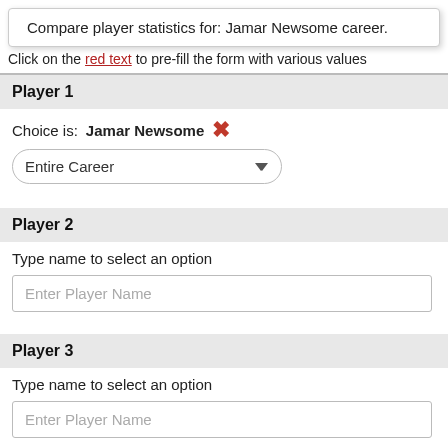Compare player statistics for: Jamar Newsome career.
Click on the red text to pre-fill the form with various values
Player 1
Choice is: Jamar Newsome ✕
Entire Career (dropdown)
Player 2
Type name to select an option
Enter Player Name (input placeholder)
Player 3
Type name to select an option
Enter Player Name (input placeholder)
Player 4
Type name to select an option
Enter Player Name (input placeholder)